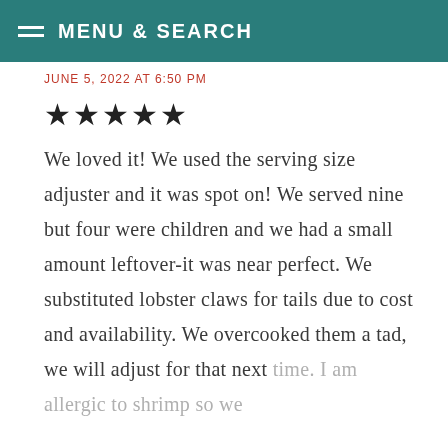MENU & SEARCH
JUNE 5, 2022 AT 6:50 PM
★★★★★
We loved it! We used the serving size adjuster and it was spot on! We served nine but four were children and we had a small amount leftover-it was near perfect. We substituted lobster claws for tails due to cost and availability. We overcooked them a tad, we will adjust for that next time. I am allergic to shrimp so we